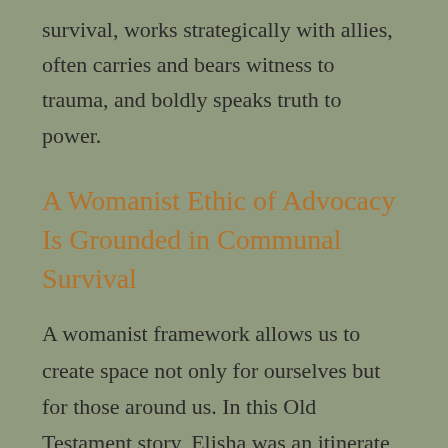survival, works strategically with allies, often carries and bears witness to trauma, and boldly speaks truth to power.
A Womanist Ethic of Advocacy Is Grounded in Communal Survival
A womanist framework allows us to create space not only for ourselves but for those around us. In this Old Testament story, Elisha was an itinerate preacher. It is often tempting to presume that the leaders among us never need support or advocacy. By advocating first to make space for Elisha, and later advocating